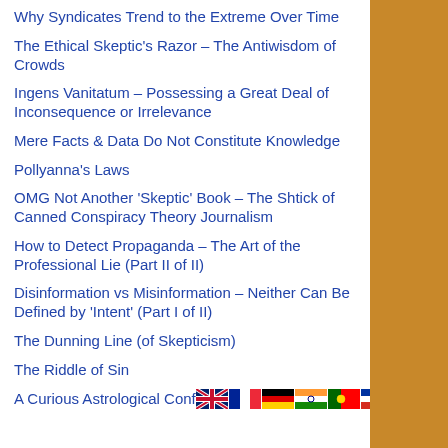Why Syndicates Trend to the Extreme Over Time
The Ethical Skeptic's Razor – The Antiwisdom of Crowds
Ingens Vanitatum – Possessing a Great Deal of Inconsequence or Irrelevance
Mere Facts & Data Do Not Constitute Knowledge
Pollyanna's Laws
OMG Not Another 'Skeptic' Book – The Shtick of Canned Conspiracy Theory Journalism
How to Detect Propaganda – The Art of the Professional Lie (Part II of II)
Disinformation vs Misinformation – Neither Can Be Defined by 'Intent' (Part I of II)
The Dunning Line (of Skepticism)
The Riddle of Sin
A Curious Astrological Conf… [flags: UK, France, Germany, India, Portugal, Russia, Spain]